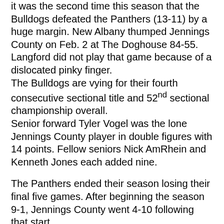it was the second time this season that the Bulldogs defeated the Panthers (13-11) by a huge margin. New Albany thumped Jennings County on Feb. 2 at The Doghouse 84-55. Langford did not play that game because of a dislocated pinky finger.
The Bulldogs are vying for their fourth consecutive sectional title and 52nd sectional championship overall.
Senior forward Tyler Vogel was the lone Jennings County player in double figures with 14 points. Fellow seniors Nick AmRhein and Kenneth Jones each added nine.
The Panthers ended their season losing their final five games. After beginning the season 9-1, Jennings County went 4-10 following that start.
CLASS 4A SEYMOUR SECTIONAL
FIRST ROUND
NEW ALBANY 88, JENNINGS COUNTY 57
New Albany    18  27  26  17-88
Jennings Co.      8  16  15  18-57
New Albany (22-3): Romeo Langford 31, Isaac Hibbard 16, Sean East 11, Julien Hunter 8, Blake Murphy 6, Seth Short